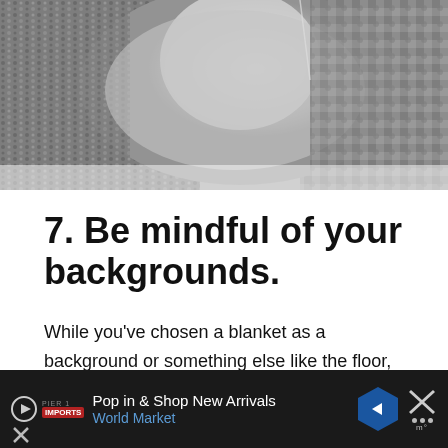[Figure (photo): Black and white close-up photo of a baby or infant, partially visible, on a textured blanket background]
7. Be mindful of your backgrounds.
While you've chosen a blanket as a background or something else like the floor, make sure to pay attention to what is actually in your shot.
If a blanket is your background and your aren't shooting straight overhead, try to prop the blanket up
[Figure (other): Advertisement bar: Pop in & Shop New Arrivals - World Market, with play button, logo, blue arrow hexagon, and X close button]